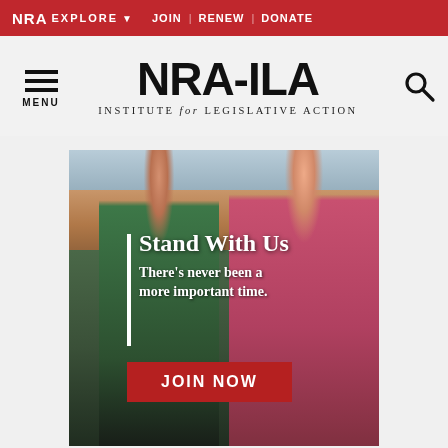NRA EXPLORE ▾   JOIN | RENEW | DONATE
NRA-ILA
INSTITUTE for LEGISLATIVE ACTION
[Figure (photo): Two hikers (man and woman) outdoors at a canyon scenic overlook. Overlaid text: 'Stand With Us — There's never been a more important time.' with a JOIN NOW button.]